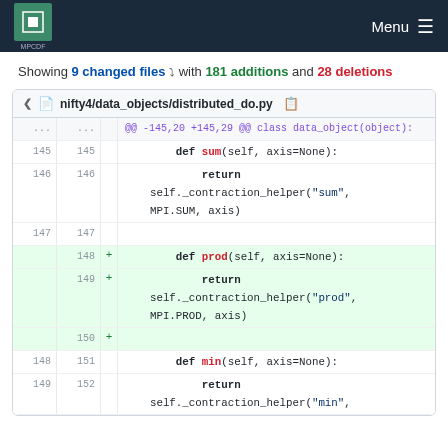MPCDF Menu
Showing 9 changed files with 181 additions and 28 deletions
[Figure (screenshot): Git diff view of nifty4/data_objects/distributed_do.py showing added prod() method between existing sum() and min() methods. Lines 145-152 shown with context, additions highlighted in green.]